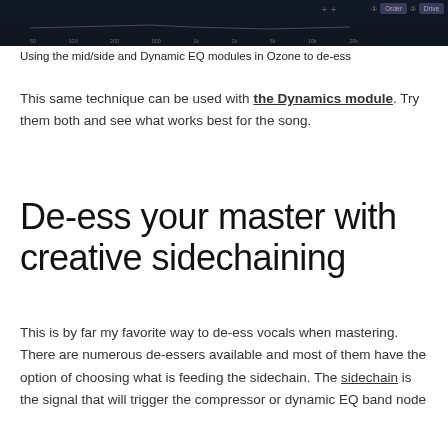[Figure (screenshot): Screenshot of Ozone Dynamic EQ interface showing frequency spectrum with controls at top right including Order and Drive buttons]
Using the mid/side and Dynamic EQ modules in Ozone to de-ess
This same technique can be used with the Dynamics module. Try them both and see what works best for the song.
De-ess your master with creative sidechaining
This is by far my favorite way to de-ess vocals when mastering. There are numerous de-essers available and most of them have the option of choosing what is feeding the sidechain. The sidechain is the signal that will trigger the compressor or dynamic EQ band node